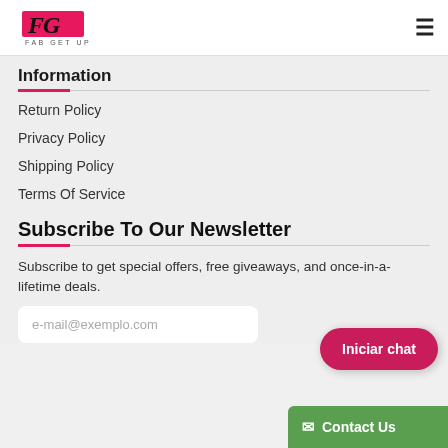FG FAB GET UP
Information
Return Policy
Privacy Policy
Shipping Policy
Terms Of Service
Subscribe To Our Newsletter
Subscribe to get special offers, free giveaways, and once-in-a-lifetime deals.
e-mail@exemplo.com